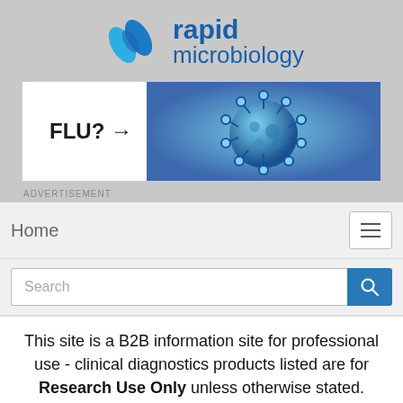[Figure (logo): Rapid Microbiology logo with blue pill-shaped icon and text 'rapid microbiology' in blue]
[Figure (photo): Advertisement banner with text 'FLU? →' and image of flu virus particle on blue background]
ADVERTISEMENT
Home
Search
This site is a B2B information site for professional use - clinical diagnostics products listed are for Research Use Only unless otherwise stated.
« Previous article
FDA Cleared Liofilch